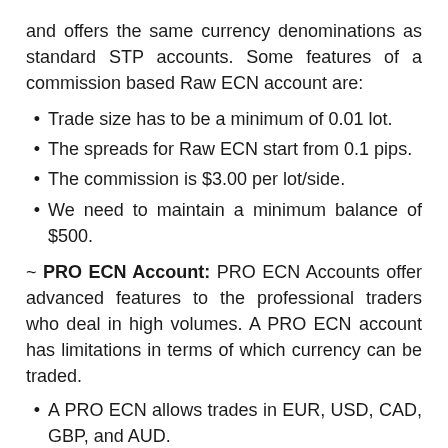and offers the same currency denominations as standard STP accounts. Some features of a commission based Raw ECN account are:
Trade size has to be a minimum of 0.01 lot.
The spreads for Raw ECN start from 0.1 pips.
The commission is $3.00 per lot/side.
We need to maintain a minimum balance of $500.
~ PRO ECN Account: PRO ECN Accounts offer advanced features to the professional traders who deal in high volumes. A PRO ECN account has limitations in terms of which currency can be traded.
A PRO ECN allows trades in EUR, USD, CAD, GBP, and AUD.